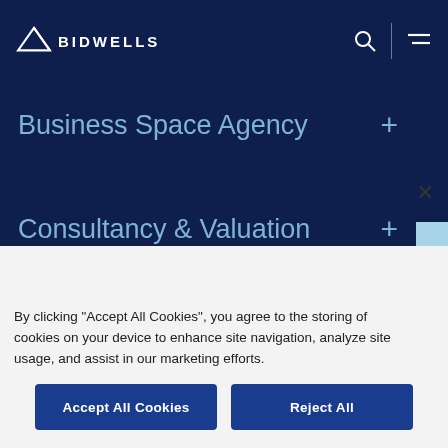[Figure (logo): Bidwells logo with triangle icon and text BIDWELLS in white on dark navy background]
Business Space Agency +
Consultancy & Valuation +
Fund Management
Contact
By clicking "Accept All Cookies", you agree to the storing of cookies on your device to enhance site navigation, analyze site usage, and assist in our marketing efforts.
Accept All Cookies
Reject All